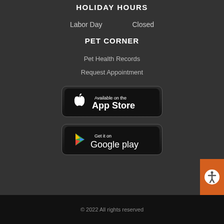HOLIDAY HOURS
Labor Day    Closed
PET CORNER
Pet Health Records
Request Appointment
[Figure (screenshot): Available on the App Store badge]
[Figure (screenshot): Get it on Google play badge]
© 2022 All rights reserved